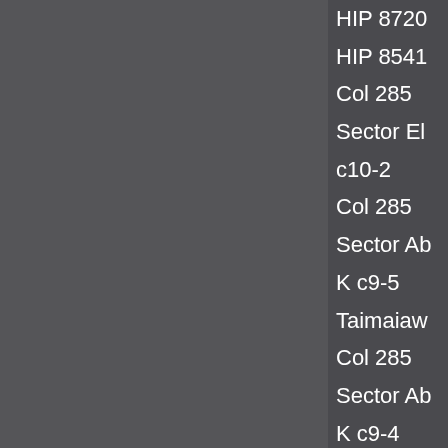HIP 8720
HIP 8541
Col 285
Sector El
c10-2
Col 285
Sector Ab
K c9-5
Taimaiaw
Col 285
Sector Ab
K c9-4
Col 285
Sector El
c10-13
Hungua
Xuang
Har Pa
Chiu